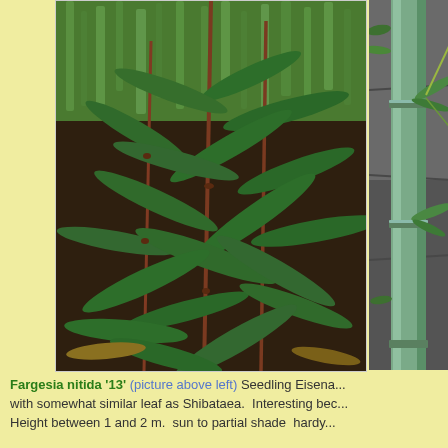[Figure (photo): Fargesia nitida '13' plant with green lance-shaped leaves on reddish-brown stems, photographed against a background of green grass and dark soil/mulch.]
[Figure (photo): Close-up of a bamboo culm (stem) with bluish-green coloring, showing nodes and emerging narrow leaves, photographed against stone/concrete background.]
Fargesia nitida '13' (picture above left) Seedling Eisena... with somewhat similar leaf as Shibataea. Interesting bec... Height between 1 and 2 m.  sun to partial shade  hardy...